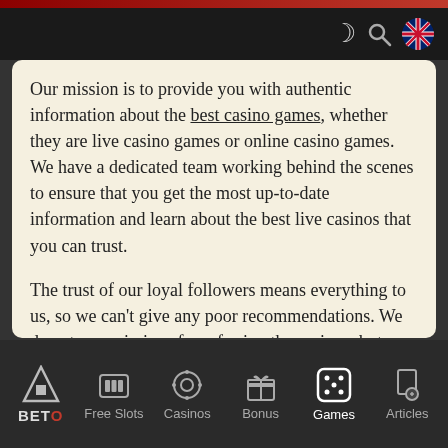Header bar with moon icon, search icon, and UK flag
Our mission is to provide you with authentic information about the best casino games, whether they are live casino games or online casino games. We have a dedicated team working behind the scenes to ensure that you get the most up-to-date information and learn about the best live casinos that you can trust.
The trust of our loyal followers means everything to us, so we can't give any poor recommendations. We do get commissions for referring the casinos, but we don't list casinos that don't meet our standards. If a live casino has been mentioned on the site, you can be sure that it is one of the best live casinos in the world.
BETO | Free Slots | Casinos | Bonus | Games | Articles